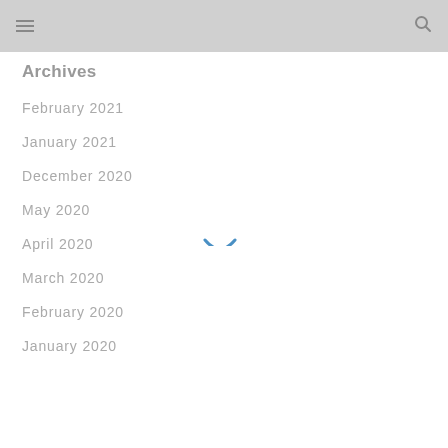Archives
February 2021
January 2021
December 2020
May 2020
April 2020
March 2020
February 2020
January 2020
[Figure (other): Blue loading spinner arc icon in the center-right area of the page]